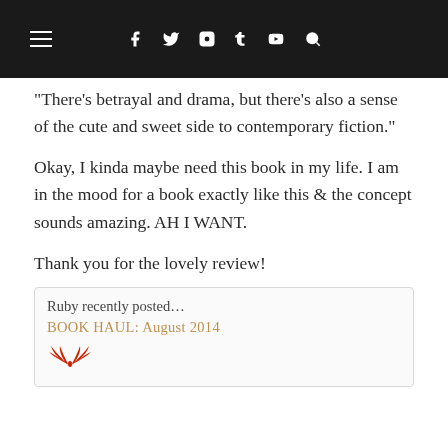≡  f  t  [instagram]  t  [youtube]  [search]
“There’s betrayal and drama, but there’s also a sense of the cute and sweet side to contemporary fiction.”
Okay, I kinda maybe need this book in my life. I am in the mood for a book exactly like this & the concept sounds amazing. AH I WANT.
Thank you for the lovely review!
Ruby recently posted…
BOOK HAUL: August 2014